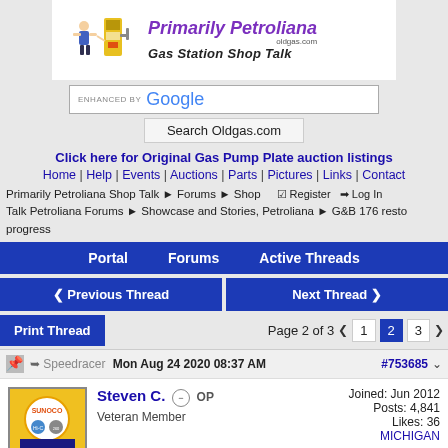[Figure (logo): Primarily Petroliana oldgas.com Gas Station Shop Talk banner logo with retro gas station attendant figure]
[Figure (screenshot): Google search bar enhanced by Google with Search Oldgas.com button]
Click here for Original Gas Pump Plate auction listings
Home | Help | Events | Auctions | Parts | Pictures | Links | Contact
Primarily Petroliana Shop Talk > Forums > Shop Talk Petroliana Forums > Showcase and Stories, Petroliana > G&B 176 resto progress    Register   Log In
Portal   Forums   Active Threads
< Previous Thread    Next Thread >
Print Thread    Page 2 of 3  < 1  2  3  >
Speedracer  Mon Aug 24 2020 08:37 AM  #753685
Steven C.  OP
Veteran Member
Joined: Jun 2012
Posts: 4,841
Likes: 36
MICHIGAN